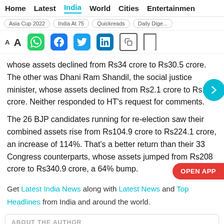Home  Latest  India  World  Cities  Entertainment
Asia Cup 2022  India At 75  Quickreads  Daily Dige...
whose assets declined from Rs34 crore to Rs30.5 crore. The other was Dhani Ram Shandil, the social justice minister, whose assets declined from Rs2.1 crore to Rs1.1 crore. Neither responded to HT's request for comments.
The 26 BJP candidates running for re-election saw their combined assets rise from Rs104.9 crore to Rs224.1 crore, an increase of 114%. That's a better return than their 33 Congress counterparts, whose assets jumped from Rs208 crore to Rs340.9 crore, a 64% bump.
Get Latest India News along with Latest News and Top Headlines from India and around the world.
ABOUT THE AUTHOR